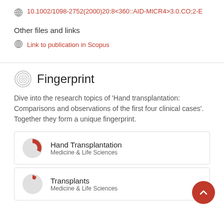10.1002/1098-2752(2000)20:8<360::AID-MICR4>3.0.CO;2-E
Other files and links
Link to publication in Scopus
Fingerprint
Dive into the research topics of 'Hand transplantation: Comparisons and observations of the first four clinical cases'. Together they form a unique fingerprint.
Hand Transplantation
Medicine & Life Sciences
Transplants
Medicine & Life Sciences